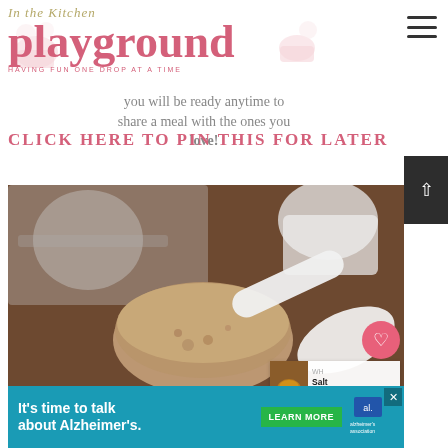In the Kitchen Playground – HAVING FUN ONE DROP AT A TIME
you will be ready anytime to share a meal with the ones you love!
CLICK HERE TO PIN THIS FOR LATER
[Figure (photo): Close-up photo of brown sugar or cocoa mixture in a glass jar with a white measuring spoon/scoop. Measuring cups visible in the blurred background on a wooden surface.]
It's time to talk about Alzheimer's.
LEARN MORE – Alzheimer's Association advertisement banner